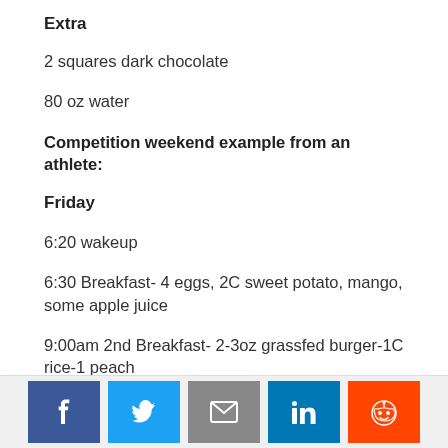Extra
2 squares dark chocolate
80 oz water
Competition weekend example from an athlete:
Friday
6:20 wakeup
6:30 Breakfast- 4 eggs, 2C sweet potato, mango, some apple juice
9:00am 2nd Breakfast- 2-3oz grassfed burger-1C rice-1 peach
[Figure (infographic): Social share buttons: Facebook, Twitter, Email, LinkedIn, Reddit]